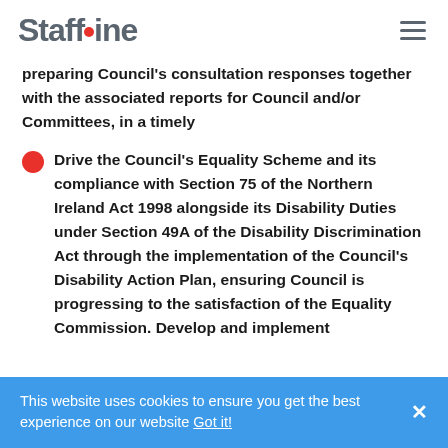Staffline
preparing Council's consultation responses together with the associated reports for Council and/or Committees, in a timely
Drive the Council's Equality Scheme and its compliance with Section 75 of the Northern Ireland Act 1998 alongside its Disability Duties under Section 49A of the Disability Discrimination Act through the implementation of the Council's Disability Action Plan, ensuring Council is progressing to the satisfaction of the Equality Commission. Develop and implement
This website uses cookies to ensure you get the best experience on our website Got it!